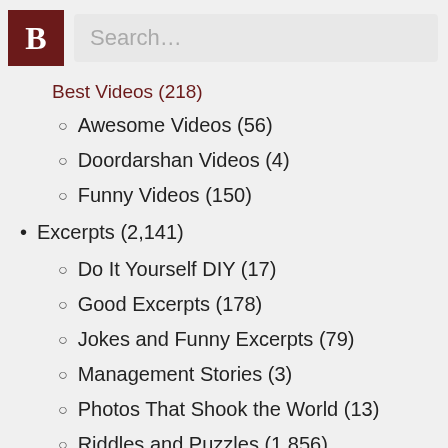B Search…
Best Videos (218)
Awesome Videos (56)
Doordarshan Videos (4)
Funny Videos (150)
Excerpts (2,141)
Do It Yourself DIY (17)
Good Excerpts (178)
Jokes and Funny Excerpts (79)
Management Stories (3)
Photos That Shook the World (13)
Riddles and Puzzles (1,856)
Food & Drinks (8)
General (43)
Good Songs (27)